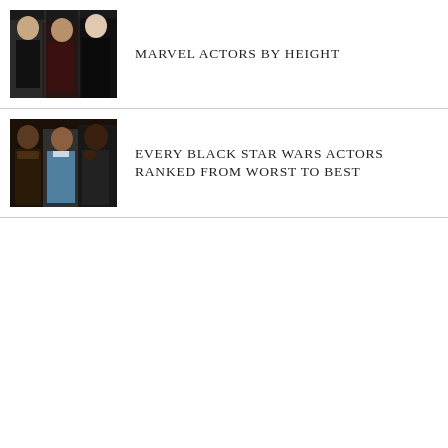[Figure (photo): Collage of three Marvel actors in formal attire on a dark background]
MARVEL ACTORS BY HEIGHT
[Figure (photo): Collage of three Black Star Wars actors including recognizable characters]
EVERY BLACK STAR WARS ACTORS RANKED FROM WORST TO BEST